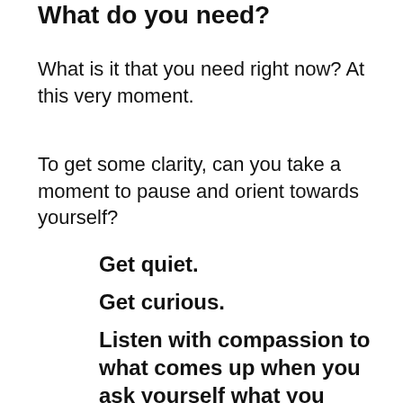What do you need?
What is it that you need right now?  At this very moment.
To get some clarity, can you take a moment to pause and orient towards yourself?
Get quiet.
Get curious.
Listen with compassion to what comes up when you ask yourself what you need.